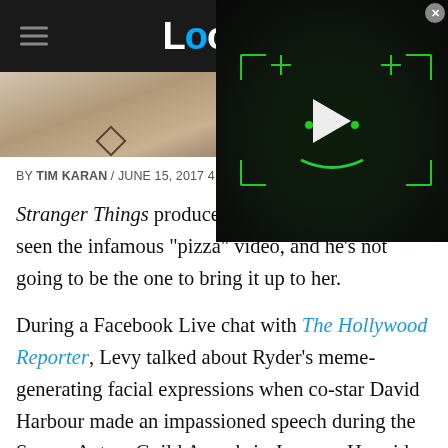Looper
[Figure (screenshot): Image strip showing partial photo of person with necklace, and overlapping video player with dark face and green glowing lines with a play button]
BY TIM KARAN / JUNE 15, 2017 4:28 PM
Stranger Things producer Sh... Winona Ryder has seen the infamous "pizza" video, and he's not going to be the one to bring it up to her.
During a Facebook Live chat with The Hollywood Reporter, Levy talked about Ryder's meme-generating facial expressions when co-star David Harbour made an impassioned speech during the Screen Actors Guild Awards in January. He said that